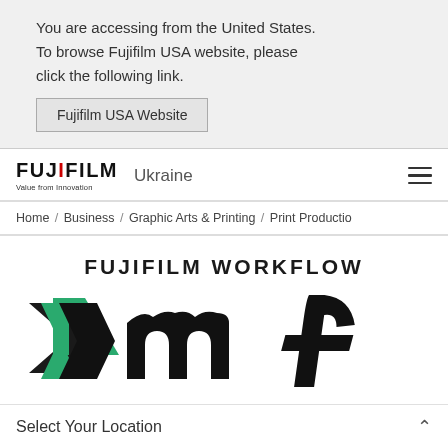You are accessing from the United States. To browse Fujifilm USA website, please click the following link.
Fujifilm USA Website
[Figure (logo): FUJIFILM logo with red I, tagline 'Value from Innovation', followed by 'Ukraine' region label and hamburger menu icon]
Home / Business / Graphic Arts & Printing / Print Productio
[Figure (logo): FUJIFILM WORKFLOW XMF logo with green and black stylized letters xm and italic f]
Select Your Location